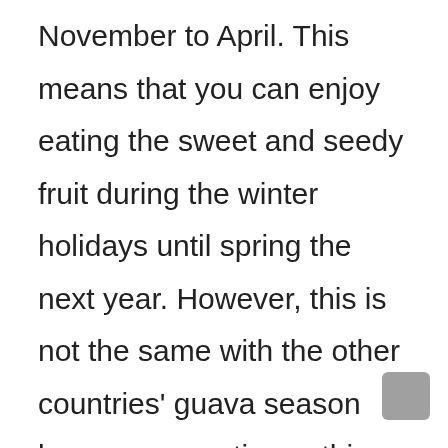November to April. This means that you can enjoy eating the sweet and seedy fruit during the winter holidays until spring the next year. However, this is not the same with the other countries' guava season because sometimes, this fruit only lasts from October to December. It's just a matter of geographical location and